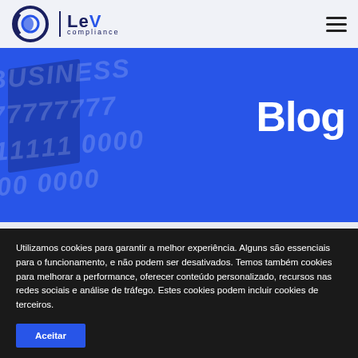LeV compliance — navigation header with logo and hamburger menu
[Figure (illustration): Blue hero banner with faint 'BUSINESS' text overlay, dark diagonal card shape on the left, and the word 'Blog' in large bold white text on the right]
Blog
Utilizamos cookies para garantir a melhor experiência. Alguns são essenciais para o funcionamento, e não podem ser desativados. Temos também cookies para melhorar a performance, oferecer conteúdo personalizado, recursos nas redes sociais e análise de tráfego. Estes cookies podem incluir cookies de terceiros.
Aceitar